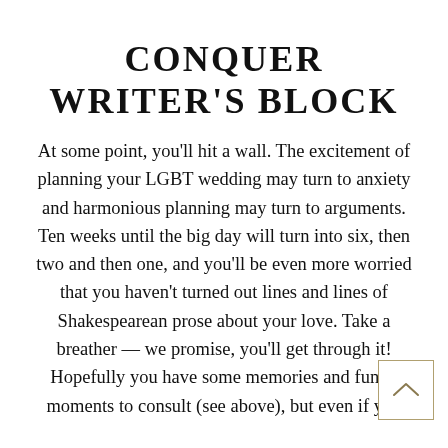CONQUER WRITER'S BLOCK
At some point, you'll hit a wall. The excitement of planning your LGBT wedding may turn to anxiety and harmonious planning may turn to arguments. Ten weeks until the big day will turn into six, then two and then one, and you'll be even more worried that you haven't turned out lines and lines of Shakespearean prose about your love. Take a breather — we promise, you'll get through it! Hopefully you have some memories and funny moments to consult (see above), but even if you